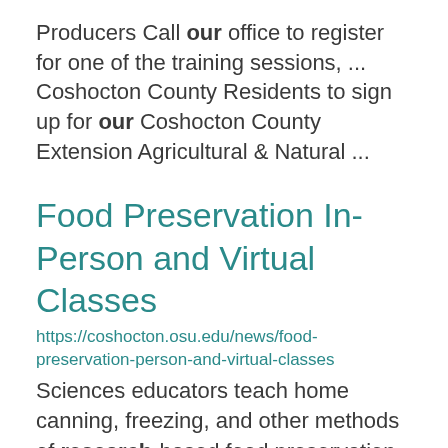Producers Call our office to register for one of the training sessions, ... Coshocton County Residents to sign up for our Coshocton County Extension Agricultural & Natural ...
Food Preservation In-Person and Virtual Classes
https://coshocton.osu.edu/news/food-preservation-person-and-virtual-classes
Sciences educators teach home canning, freezing, and other methods of research-based food preservation. ...
Turfgrass Management and